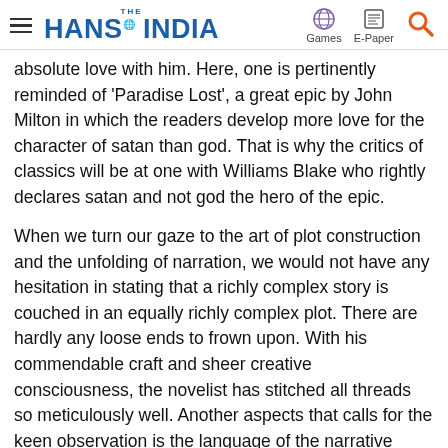THE HANS INDIA — Games | E-Paper | Search
absolute love with him. Here, one is pertinently reminded of 'Paradise Lost', a great epic by John Milton in which the readers develop more love for the character of satan than god. That is why the critics of classics will be at one with Williams Blake who rightly declares satan and not god the hero of the epic.
When we turn our gaze to the art of plot construction and the unfolding of narration, we would not have any hesitation in stating that a richly complex story is couched in an equally richly complex plot. There are hardly any loose ends to frown upon. With his commendable craft and sheer creative consciousness, the novelist has stitched all threads so meticulously well. Another aspects that calls for the keen observation is the language of the narrative which in the words of Roland Barthes determines the success and failure of a literary piece. The perfect choice of